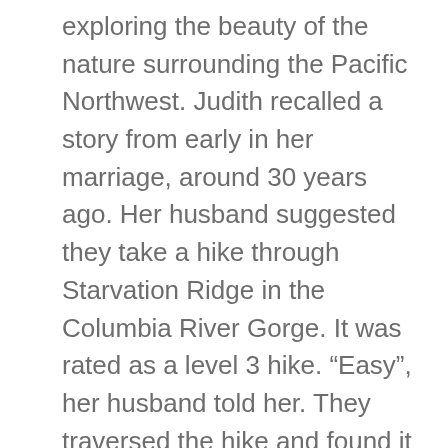exploring the beauty of the nature surrounding the Pacific Northwest. Judith recalled a story from early in her marriage, around 30 years ago. Her husband suggested they take a hike through Starvation Ridge in the Columbia River Gorge. It was rated as a level 3 hike. “Easy”, her husband told her. They traversed the hike and found it surprisingly difficult. Judith wondered what a “difficult” hike must be like if this one was easy. She was wearing poor hiking boots and began getting tired, so they eventually had to abandon the hike and return home. Her husband later discovered that he’d misinterpreted the hiking book, and that level 3 meant difficult, not easy! They laugh about this story to this day and see it as an early